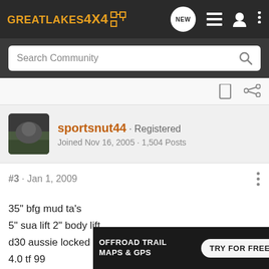GREATLAKES4x4
Search Community
sportsnut44 · Registered
Joined Nov 16, 2005 · 1,504 Posts
#3 · Jan 1, 2009
35" bfg mud ta's
5" sua lift 2" body lift
d30 aussie locked front 8.8 welded rear 4:88
4.0 tf 99
steve
[Figure (screenshot): Advertisement banner for ON X OFFROAD app: 'OFFROAD TRAIL MAPS & GPS' with 'TRY FOR FREE' button on yellow/black background]